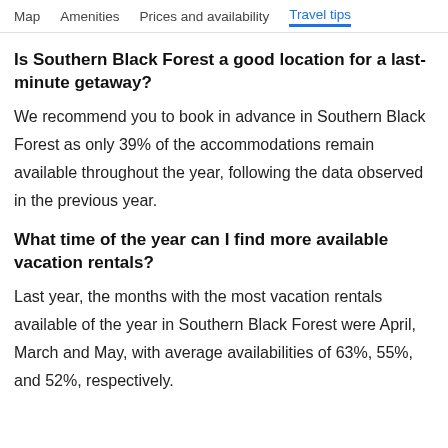Map   Amenities   Prices and availability   Travel tips
Is Southern Black Forest a good location for a last-minute getaway?
We recommend you to book in advance in Southern Black Forest as only 39% of the accommodations remain available throughout the year, following the data observed in the previous year.
What time of the year can I find more available vacation rentals?
Last year, the months with the most vacation rentals available of the year in Southern Black Forest were April, March and May, with average availabilities of 63%, 55%, and 52%, respectively.